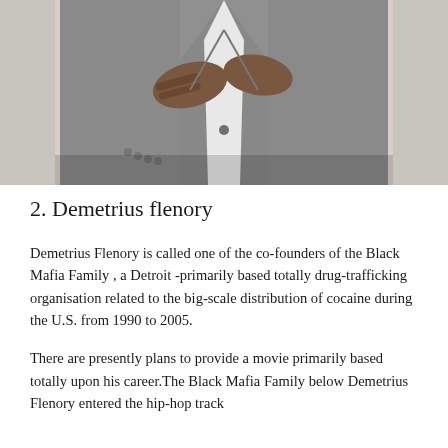[Figure (photo): Cropped photo of a person in a grey suit with hands crossed over chest, torso-only view]
2. Demetrius flenory
Demetrius Flenory is called one of the co-founders of the Black Mafia Family , a Detroit -primarily based totally drug-trafficking organisation related to the big-scale distribution of cocaine during the U.S. from 1990 to 2005.
There are presently plans to provide a movie primarily based totally upon his career.The Black Mafia Family below Demetrius Flenory entered the hip-hop track